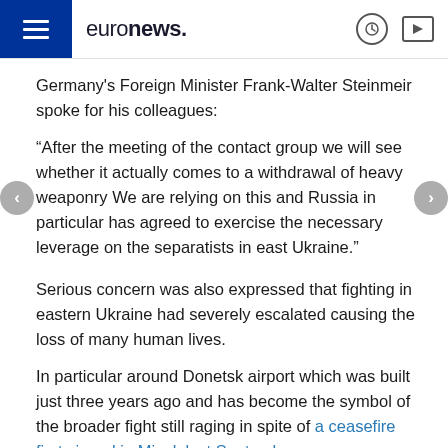euronews.
Germany's Foreign Minister Frank-Walter Steinmeir spoke for his colleagues:
“After the meeting of the contact group we will see whether it actually comes to a withdrawal of heavy weaponry We are relying on this and Russia in particular has agreed to exercise the necessary leverage on the separatists in east Ukraine.”
Serious concern was also expressed that fighting in eastern Ukraine had severely escalated causing the loss of many human lives.
In particular around Donetsk airport which was built just three years ago and has become the symbol of the broader fight still raging in spite of a ceasefire first signed in Minsk last September..